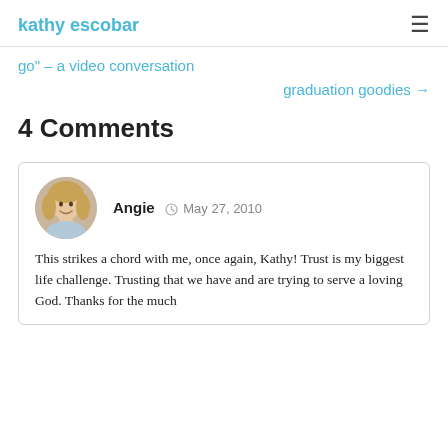kathy escobar
go" – a video conversation
graduation goodies →
4 Comments
Angie  May 27, 2010
This strikes a chord with me, once again, Kathy! Trust is my biggest life challenge. Trusting that we have and are trying to serve a loving God. Thanks for the much